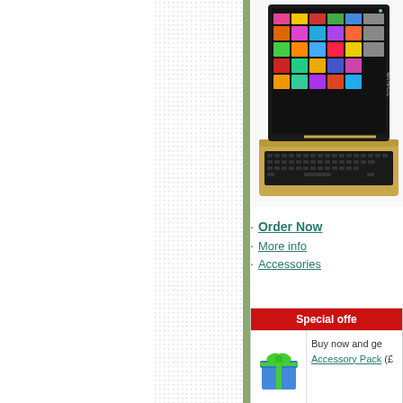[Figure (photo): Gold laptop/tablet computer with colorful app icons on screen and keyboard]
Order Now
More info
Accessories
| Special offer |
| --- |
| [gift icon] | Buy now and get Accessory Pack (£…) |